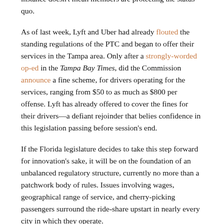challenge with much dedication, and dissent in this instance doesn't mean members are protecting the status quo.
As of last week, Lyft and Uber had already flouted the standing regulations of the PTC and began to offer their services in the Tampa area. Only after a strongly-worded op-ed in the Tampa Bay Times, did the Commission announce a fine scheme, for drivers operating for the services, ranging from $50 to as much as $800 per offense. Lyft has already offered to cover the fines for their drivers—a defiant rejoinder that belies confidence in this legislation passing before session's end.
If the Florida legislature decides to take this step forward for innovation's sake, it will be on the foundation of an unbalanced regulatory structure, currently no more than a patchwork body of rules. Issues involving wages, geographical range of service, and cherry-picking passengers surround the ride-share upstart in nearly every city in which they operate.
As recently reported by Al-Jazeera America, Uber is a facing a class action lawsuit in California by two drivers who accuse the company of skimming tips. Uber employs a well-rehearsed refrain